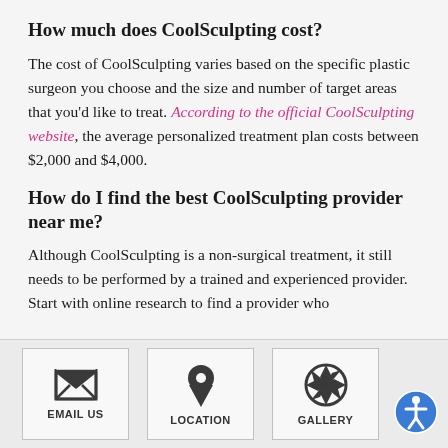How much does CoolSculpting cost?
The cost of CoolSculpting varies based on the specific plastic surgeon you choose and the size and number of target areas that you'd like to treat. According to the official CoolSculpting website, the average personalized treatment plan costs between $2,000 and $4,000.
How do I find the best CoolSculpting provider near me?
Although CoolSculpting is a non-surgical treatment, it still needs to be performed by a trained and experienced provider. Start with online research to find a provider who
[Figure (infographic): Bottom navigation bar with three icon boxes: EMAIL US (envelope icon), LOCATION (map pin icon), GALLERY (camera shutter icon), and an accessibility button circle on the right]